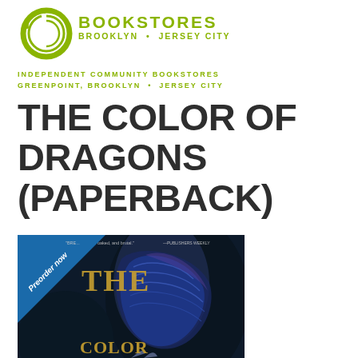[Figure (logo): Greenlight Bookstores logo: coiled snake in olive/yellow-green, with BOOKSTORES in large letters and BROOKLYN • JERSEY CITY below]
INDEPENDENT COMMUNITY BOOKSTORES
GREENPOINT, BROOKLYN • JERSEY CITY
THE COLOR OF DRAGONS (PAPERBACK)
[Figure (photo): Book cover of The Color of Dragons (Paperback) with a blue diagonal Preorder now banner in the upper-left corner. The cover shows a dragon with blue/purple scales and the title THE COLOR OF DRAGONS in gold lettering on a dark background. A quote from Publishers Weekly is visible at the top.]